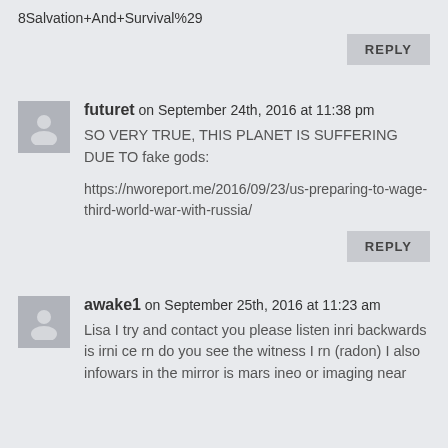8Salvation+And+Survival%29
REPLY
futuret on September 24th, 2016 at 11:38 pm
SO VERY TRUE, THIS PLANET IS SUFFERING DUE TO fake gods:
https://nworeport.me/2016/09/23/us-preparing-to-wage-third-world-war-with-russia/
REPLY
awake1 on September 25th, 2016 at 11:23 am
Lisa I try and contact you please listen inri backwards is irni ce rn do you see the witness I rn (radon) I also infowars in the mirror is mars ineo or imaging near